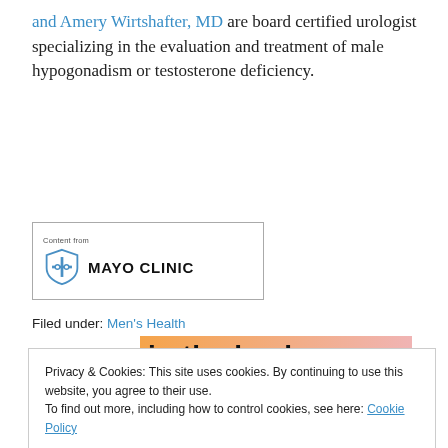and Amery Wirtshafter, MD are board certified urologist specializing in the evaluation and treatment of male hypogonadism or testosterone deficiency.
[Figure (logo): Mayo Clinic logo with shield icon and text 'Content from MAYO CLINIC' in a rectangular border]
Filed under: Men's Health
[Figure (photo): Partial banner image with orange-pink gradient background and large bold black text partially visible reading 'in the back']
Privacy & Cookies: This site uses cookies. By continuing to use this website, you agree to their use.
To find out more, including how to control cookies, see here: Cookie Policy
Close and accept